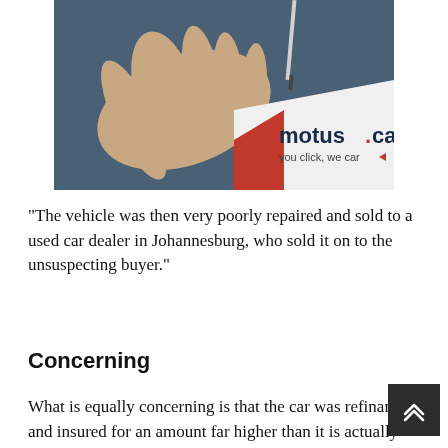[Figure (photo): Photo of a hand on a dark blue surface with a motus.cars logo overlay. Logo shows 'motus.cars' in dark navy text with red dot, and tagline 'you click, we car' with arrow, on white triangular background with red shape.]
“The vehicle was then very poorly repaired and sold to a used car dealer in Johannesburg, who sold it on to the unsuspecting buyer.”
Concerning
What is equally concerning is that the car was refinanced and insured for an amount far higher than it is actually worth – and without proper